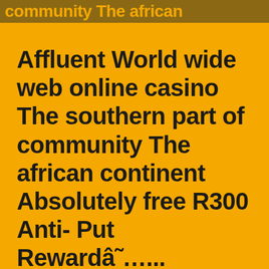community The african
Affluent World wide web online casino The southern part of community The african continent Absolutely free R300 Anti- Put Rewardâ˜…...
admin  January 6, 2021